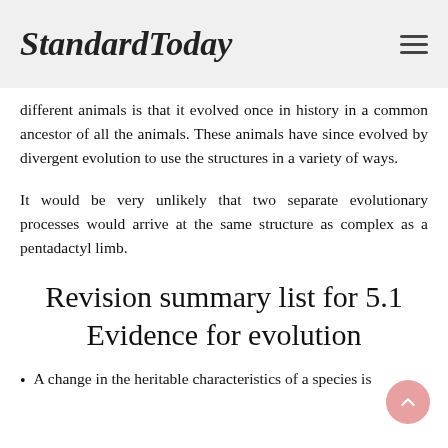StandardToday
different animals is that it evolved once in history in a common ancestor of all the animals. These animals have since evolved by divergent evolution to use the structures in a variety of ways.
It would be very unlikely that two separate evolutionary processes would arrive at the same structure as complex as a pentadactyl limb.
Revision summary list for 5.1 Evidence for evolution
A change in the heritable characteristics of a species is